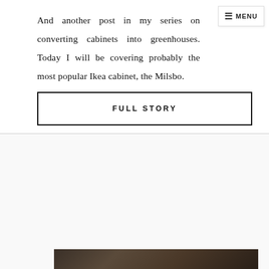And another post in my series on converting cabinets into greenhouses. Today I will be covering probably the most popular Ikea cabinet, the Milsbo.
FULL STORY
Dec 20, 2020
HOW TO CONVERT IKEA MILSBO (WIDE) CABINET INTO GREENHOUSE
[Figure (photo): Bottom strip of a photo showing a greenhouse cabinet interior, partially visible]